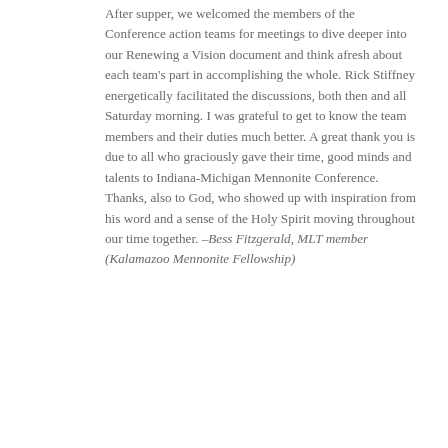After supper, we welcomed the members of the Conference action teams for meetings to dive deeper into our Renewing a Vision document and think afresh about each team's part in accomplishing the whole. Rick Stiffney energetically facilitated the discussions, both then and all Saturday morning. I was grateful to get to know the team members and their duties much better. A great thank you is due to all who graciously gave their time, good minds and talents to Indiana-Michigan Mennonite Conference. Thanks, also to God, who showed up with inspiration from his word and a sense of the Holy Spirit moving throughout our time together. –Bess Fitzgerald, MLT member (Kalamazoo Mennonite Fellowship)